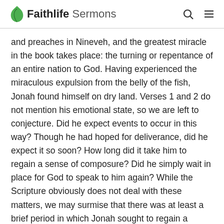Faithlife Sermons
and preaches in Nineveh, and the greatest miracle in the book takes place: the turning or repentance of an entire nation to God. Having experienced the miraculous expulsion from the belly of the fish, Jonah found himself on dry land. Verses 1 and 2 do not mention his emotional state, so we are left to conjecture. Did he expect events to occur in this way? Though he had hoped for deliverance, did he expect it so soon? How long did it take him to regain a sense of composure? Did he simply wait in place for God to speak to him again? While the Scripture obviously does not deal with these matters, we may surmise that there was at least a brief period in which Jonah sought to regain a sense of composure and stability. 3:1 If we read the Book of Jonah in one sitting, these words will be familiar, for 3:1–2 is strikingly similar to 1:1–2. In a sense Jonah was back to where he began. However, the Jonah in